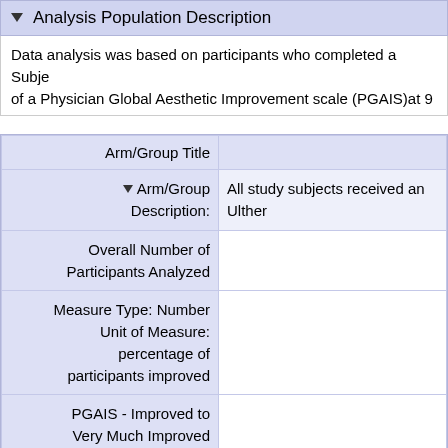▼ Analysis Population Description
Data analysis was based on participants who completed a Subje of a Physician Global Aesthetic Improvement scale (PGAIS)at 9
|  |  |
| --- | --- |
| Arm/Group Title |  |
| ▼ Arm/Group Description: | All study subjects received an Ulther |
| Overall Number of Participants Analyzed |  |
| Measure Type: Number Unit of Measure: percentage of participants improved |  |
| PGAIS - Improved to Very Much Improved |  |
| SGAIS - Improved to Very Much Improved |  |